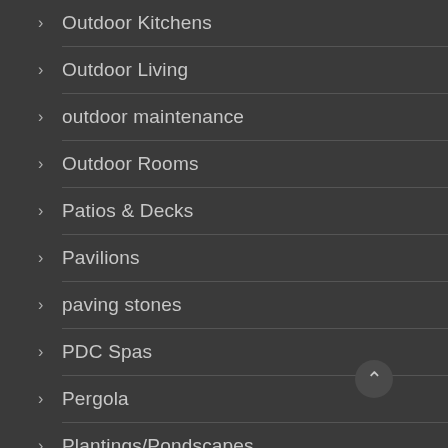Outdoor Kitchens
Outdoor Living
outdoor maintenance
Outdoor Rooms
Patios & Decks
Pavilions
paving stones
PDC Spas
Pergola
Plantings/Pondscapes
Plants